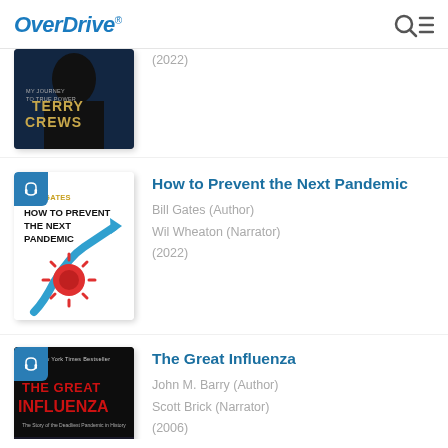OverDrive
[Figure (screenshot): Partial book cover for Terry Crews audiobook 'My Journey to True Power', showing dark cover with author name]
(2022)
[Figure (illustration): Book cover for 'How to Prevent the Next Pandemic' by Bill Gates, white cover with blue swooping arrow and red virus graphic, with audio headphone badge overlay]
How to Prevent the Next Pandemic
Bill Gates (Author)
Wil Wheaton (Narrator)
(2022)
[Figure (illustration): Book cover for 'The Great Influenza' by John M. Barry, dark cover with red title text, with audio headphone badge overlay]
The Great Influenza
John M. Barry (Author)
Scott Brick (Narrator)
(2006)